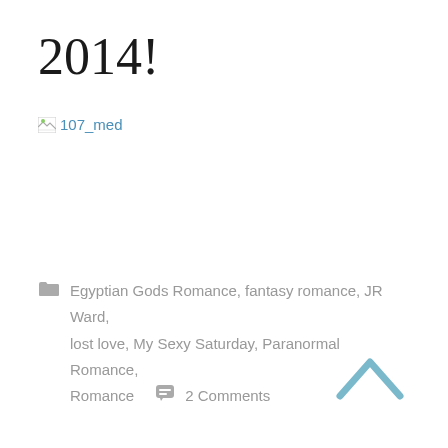2014!
[Figure (other): Broken image placeholder with alt text '107_med' shown as a browser broken image icon followed by link text]
Egyptian Gods Romance, fantasy romance, JR Ward, lost love, My Sexy Saturday, Paranormal Romance, Romance   2 Comments